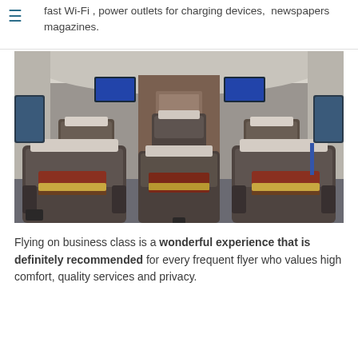fast Wi-Fi , power outlets for charging devices,  newspapers magazines.
[Figure (photo): Interior of a luxury business class cabin on a high-speed train or aircraft, showing rows of large brown leather recliner seats with white headrest covers and decorative red/gold pillows, a central aisle, brown wood-paneled door at the rear, and two overhead entertainment screens.]
Flying on business class is a wonderful experience that is definitely recommended for every frequent flyer who values high comfort, quality services and privacy.